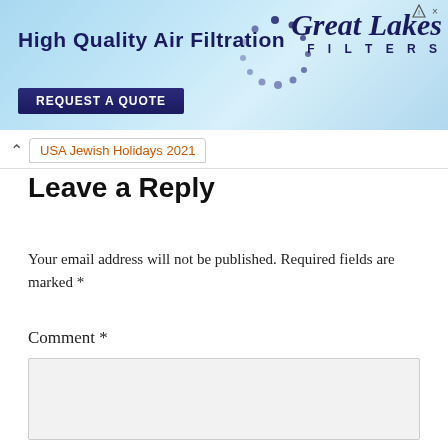[Figure (other): Advertisement banner for Great Lakes Filters - High Quality Air Filtration with a blue sky background, Request a Quote button, and company logo with dotted circle graphic]
USA Jewish Holidays 2021
Leave a Reply
Your email address will not be published. Required fields are marked *
Comment *